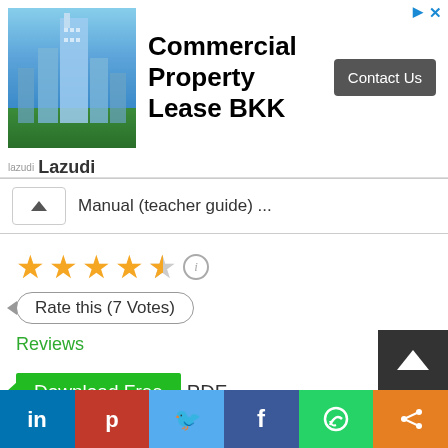[Figure (screenshot): Advertisement banner for 'Commercial Property Lease BKK' by Lazudi, featuring a city skyline photo, bold title text, and a 'Contact Us' button]
Manual (teacher guide) ...
[Figure (infographic): Star rating showing 4.5 out of 5 stars with info icon]
Rate this (7 Votes)
Reviews
Download Free PDF - Downloads : 385
[Figure (screenshot): Social sharing bar with LinkedIn, Pinterest, Twitter, Facebook, WhatsApp, and share icons]